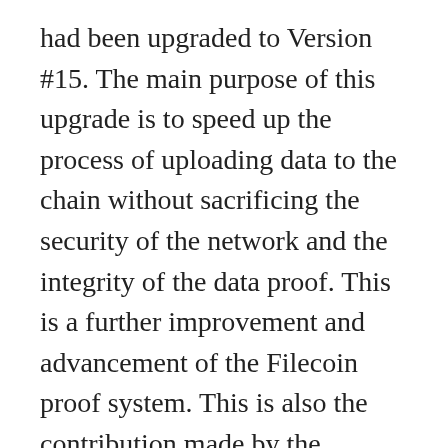had been upgraded to Version #15. The main purpose of this upgrade is to speed up the process of uploading data to the chain without sacrificing the security of the network and the integrity of the data proof. This is a further improvement and advancement of the Filecoin proof system. This is also the contribution made by the Filecoin development team to the industry in the entire zero-knowledge proof field.
Next, the most important thing is FVM (Filecoin Virtual Machine). This part takes several steps. The first is Network Version